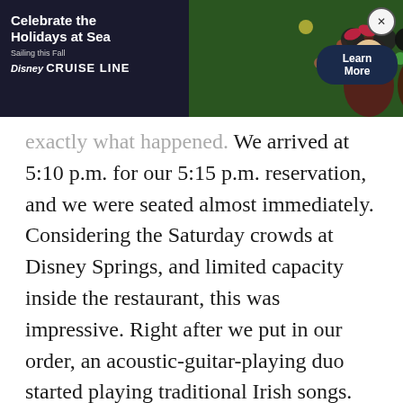[Figure (screenshot): Disney Cruise Line advertisement banner showing Mickey and Minnie Mouse in holiday setting with text 'Celebrate the Holidays at Sea, Sailing this Fall, Disney CRUISE LINE' and a 'Learn More' button]
exactly what happened. We arrived at 5:10 p.m. for our 5:15 p.m. reservation, and we were seated almost immediately. Considering the Saturday crowds at Disney Springs, and limited capacity inside the restaurant, this was impressive. Right after we put in our order, an acoustic-guitar-playing duo started playing traditional Irish songs. As the evening continued, we were also treated to a variety of Irish dancers. It is exciting to spend a